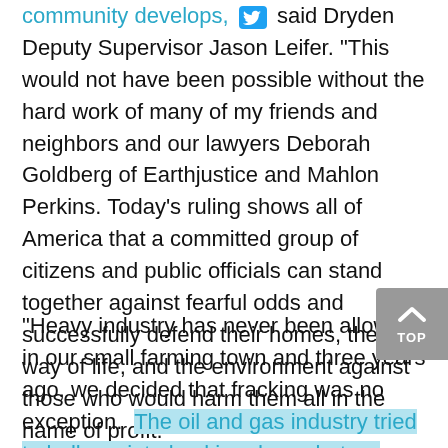community develops, [twitter icon] said Dryden Deputy Supervisor Jason Leifer. "This would not have been possible without the hard work of many of my friends and neighbors and our lawyers Deborah Goldberg of Earthjustice and Mahlon Perkins. Today's ruling shows all of America that a committed group of citizens and public officials can stand together against fearful odds and successfully defend their homes, their way of life, and the environment against those who would harm them all in the name of profit."
"Heavy industry has never been allowed in our small farming town and three years ago, we decided that fracking was no exception.  The oil and gas industry tried to bully us into backing down, but we took our fight all the way to New...